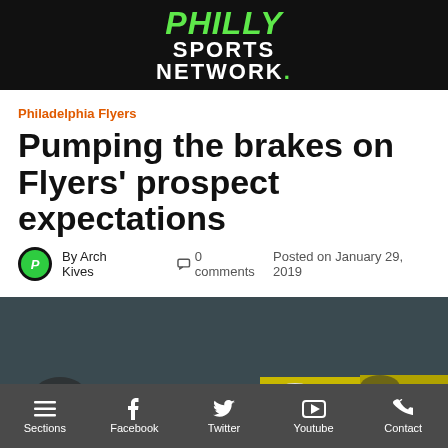PHILLY SPORTS NETWORK.
Philadelphia Flyers
Pumping the brakes on Flyers' prospect expectations
By Arch Kives   0 comments   Posted on January 29, 2019
[Figure (photo): Hockey players in orange Philadelphia Flyers uniforms on ice, including a player with helmet number 14 and a goaltender in full gear]
Sections  Facebook  Twitter  Youtube  Contact